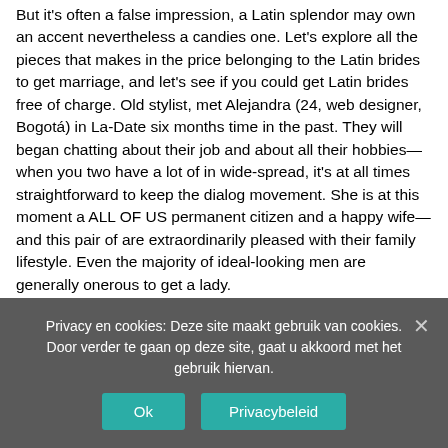But it's often a false impression, a Latin splendor may own an accent nevertheless a candies one. Let's explore all the pieces that makes in the price belonging to the Latin brides to get marriage, and let's see if you could get Latin brides free of charge. Old stylist, met Alejandra (24, web designer, Bogotá) in La-Date six months time in the past. They will began chatting about their job and about all their hobbies—when you two have a lot of in wide-spread, it's at all times straightforward to keep the dialog movement. She is at this moment a ALL OF US permanent citizen and a happy wife—and this pair of are extraordinarily pleased with their family lifestyle. Even the majority of ideal-looking men are generally onerous to get a lady.

Everyone has her purpose once she results in being a real all
Privacy en cookies: Deze site maakt gebruik van cookies. Door verder te gaan op deze site, gaat u akkoord met het gebruik hiervan.